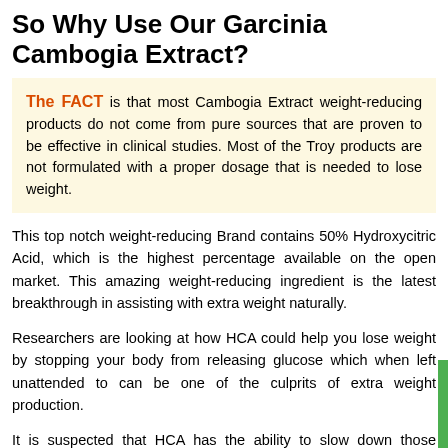So Why Use Our Garcinia Cambogia Extract?
The FACT is that most Cambogia Extract weight-reducing products do not come from pure sources that are proven to be effective in clinical studies. Most of the Troy products are not formulated with a proper dosage that is needed to lose weight.
This top notch weight-reducing Brand contains 50% Hydroxycitric Acid, which is the highest percentage available on the open market. This amazing weight-reducing ingredient is the latest breakthrough in assisting with extra weight naturally.
Researchers are looking at how HCA could help you lose weight by stopping your body from releasing glucose which when left unattended to can be one of the culprits of extra weight production.
It is suspected that HCA has the ability to slow down those cravings for food, which in turn means you are going to lose weight and experience fewer hunger pangs, so you will probably think about food less often which means more weight-reducing with